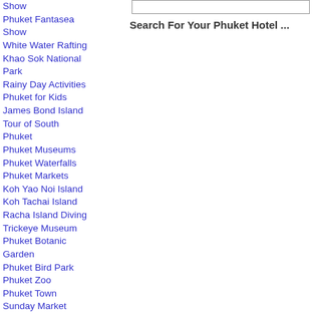Show
Phuket Fantasea Show
White Water Rafting
Khao Sok National Park
Rainy Day Activities
Phuket for Kids
James Bond Island
Tour of South Phuket
Phuket Museums
Phuket Waterfalls
Phuket Markets
Koh Yao Noi Island
Koh Tachai Island
Racha Island Diving
Trickeye Museum
Phuket Botanic Garden
Phuket Bird Park
Phuket Zoo
Phuket Town Sunday Market
Old Phuket Town Tour
Search For Your Phuket Hotel ...